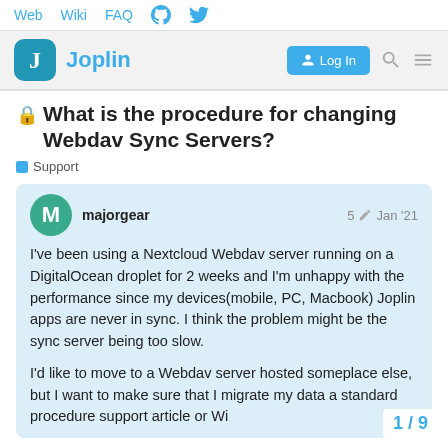Web  Wiki  FAQ  [GitHub icon]  [Twitter icon]
[Figure (logo): Joplin forum logo with blue rounded square J icon and Joplin text, plus Log In button, search and menu icons]
🔒 What is the procedure for changing Webdav Sync Servers?
Support
majorgear  5 ✏️  Jan '21
I've been using a Nextcloud Webdav server running on a DigitalOcean droplet for 2 weeks and I'm unhappy with the performance since my devices(mobile, PC, Macbook) Joplin apps are never in sync. I think the problem might be the sync server being too slow.

I'd like to move to a Webdav server hosted someplace else, but I want to make sure that I migrate my data a standard procedure support article or Wi
1 / 9